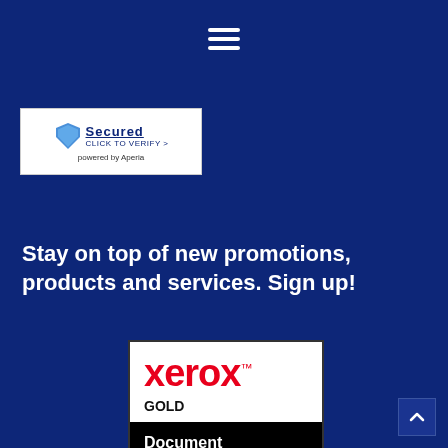[Figure (other): Hamburger menu icon (three horizontal white lines) centered at top of dark blue page]
[Figure (logo): Secured badge with blue shield logo, 'CLICK TO VERIFY >' text and 'powered by Aperia' underneath, on white background]
Stay on top of new promotions, products and services. Sign up!
[Figure (logo): Xerox Gold Document Technology Partner badge. White upper section with red Xerox logo and 'GOLD' text. Black lower section with white text reading 'Document Technology Partner'.]